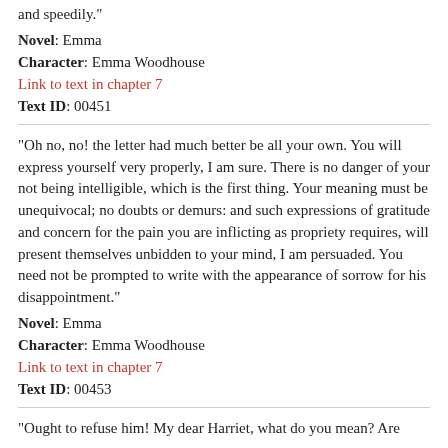and speedily."
Novel: Emma
Character: Emma Woodhouse
Link to text in chapter 7
Text ID: 00451
"Oh no, no! the letter had much better be all your own. You will express yourself very properly, I am sure. There is no danger of your not being intelligible, which is the first thing. Your meaning must be unequivocal; no doubts or demurs: and such expressions of gratitude and concern for the pain you are inflicting as propriety requires, will present themselves unbidden to your mind, I am persuaded. You need not be prompted to write with the appearance of sorrow for his disappointment."
Novel: Emma
Character: Emma Woodhouse
Link to text in chapter 7
Text ID: 00453
"Ought to refuse him! My dear Harriet, what do you mean? Are